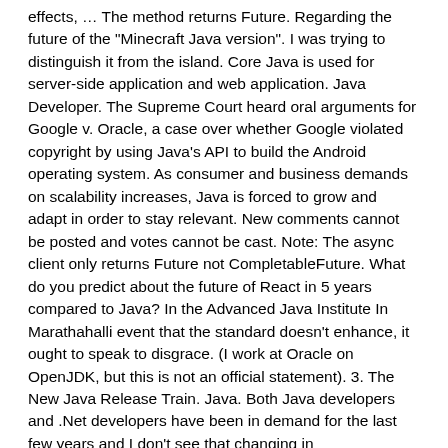effects, … The method returns Future. Regarding the future of the "Minecraft Java version". I was trying to distinguish it from the island. Core Java is used for server-side application and web application. Java Developer. The Supreme Court heard oral arguments for Google v. Oracle, a case over whether Google violated copyright by using Java's API to build the Android operating system. As consumer and business demands on scalability increases, Java is forced to grow and adapt in order to stay relevant. New comments cannot be posted and votes cannot be cast. Note: The async client only returns Future not CompletableFuture. What do you predict about the future of React in 5 years compared to Java? In the Advanced Java Institute In Marathahalli event that the standard doesn't enhance, it ought to speak to disgrace. (I work at Oracle on OpenJDK, but this is not an official statement). 3. The New Java Release Train. Java. Both Java developers and .Net developers have been in demand for the last few years and I don't see that changing in